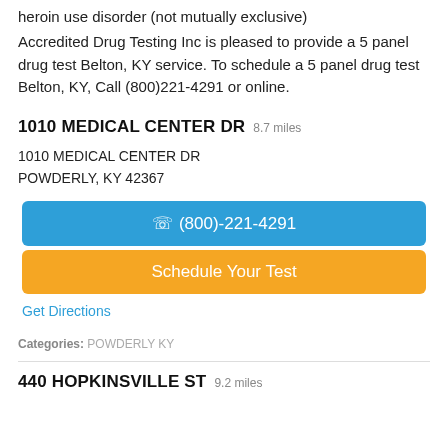heroin use disorder (not mutually exclusive)
Accredited Drug Testing Inc is pleased to provide a 5 panel drug test Belton, KY service. To schedule a 5 panel drug test Belton, KY, Call (800)221-4291 or online.
1010 MEDICAL CENTER DR 8.7 miles
1010 MEDICAL CENTER DR
POWDERLY, KY 42367
(800)-221-4291
Schedule Your Test
Get Directions
Categories: POWDERLY KY
440 HOPKINSVILLE ST 9.2 miles